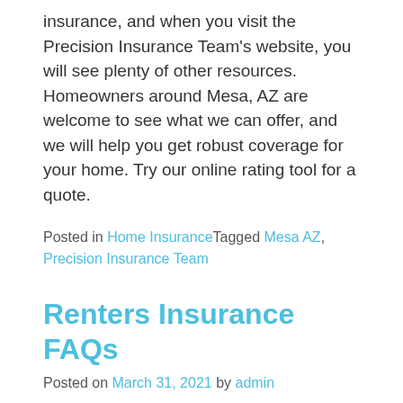insurance, and when you visit the Precision Insurance Team's website, you will see plenty of other resources. Homeowners around Mesa, AZ are welcome to see what we can offer, and we will help you get robust coverage for your home. Try our online rating tool for a quote.
Posted in Home Insurance Tagged Mesa AZ, Precision Insurance Team
Renters Insurance FAQs
Posted on March 31, 2021 by admin
Mesa, AZ is a Phoenix suburb and has been named one of the top places to live. It is 5% less expensive than the average city in the U.S. About 40% of residents rent the dwelling they live in. You may